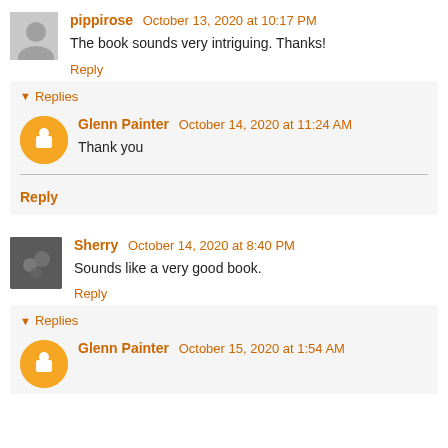pippirose October 13, 2020 at 10:17 PM
The book sounds very intriguing. Thanks!
Reply
Replies
Glenn Painter October 14, 2020 at 11:24 AM
Thank you
Reply
Sherry October 14, 2020 at 8:40 PM
Sounds like a very good book.
Reply
Replies
Glenn Painter October 15, 2020 at 1:54 AM